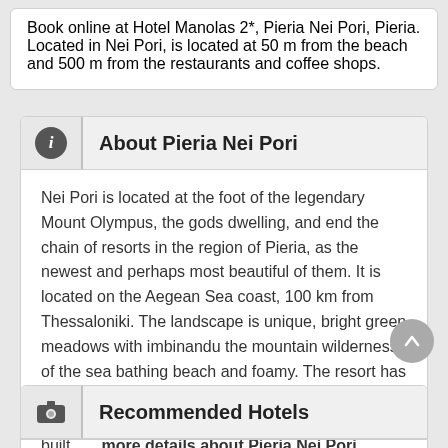Book online at Hotel Manolas 2*, Pieria Nei Pori, Pieria. Located in Nei Pori, is located at 50 m from the beach and 500 m from the restaurants and coffee shops.
About Pieria Nei Pori
Nei Pori is located at the foot of the legendary Mount Olympus, the gods dwelling, and end the chain of resorts in the region of Pieria, as the newest and perhaps most beautiful of them. It is located on the Aegean Sea coast, 100 km from Thessaloniki. The landscape is unique, bright green meadows with imbinandu the mountain wilderness of the sea bathing beach and foamy. The resort has a modern infrastructure, recently entering the tourist circuit. Wide streets, hotels and villas, newly built ..... more details about Pieria Nei Pori
Recommended Hotels